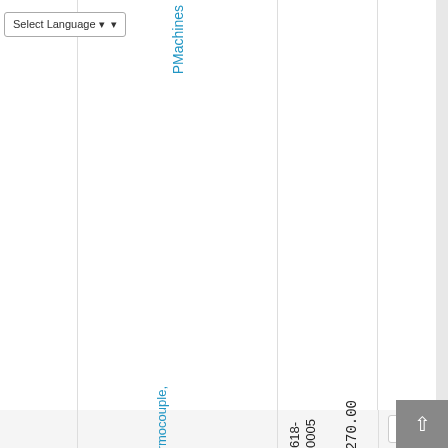Select Language
|  | Product | Price | Qty |
| --- | --- | --- | --- |
|  | PMachines |  |  |
|  | Thermocouple, w... | 618-0005 | $270.00 | 1 |